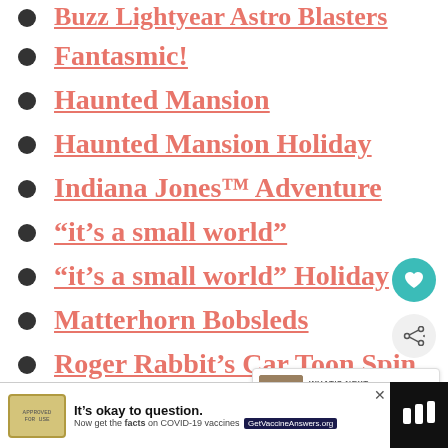Buzz Lightyear Astro Blasters
Fantasmic!
Haunted Mansion
Haunted Mansion Holiday
Indiana Jones™ Adventure
“it’s a small world”
“it’s a small world” Holiday
Matterhorn Bobsleds
Roger Rabbit’s Car Toon Spin